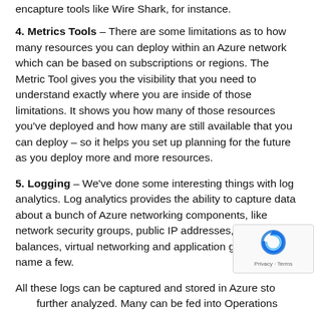encapture tools like Wire Shark, for instance.
4. Metrics Tools – There are some limitations as to how many resources you can deploy within an Azure network which can be based on subscriptions or regions. The Metric Tool gives you the visibility that you need to understand exactly where you are inside of those limitations. It shows you how many of those resources you've deployed and how many are still available that you can deploy – so it helps you set up planning for the future as you deploy more and more resources.
5. Logging – We've done some interesting things with log analytics. Log analytics provides the ability to capture data about a bunch of Azure networking components, like network security groups, public IP addresses, load balances, virtual networking and application gateways, to name a few.
All these logs can be captured and stored in Azure sto… further analyzed. Many can be fed into Operations